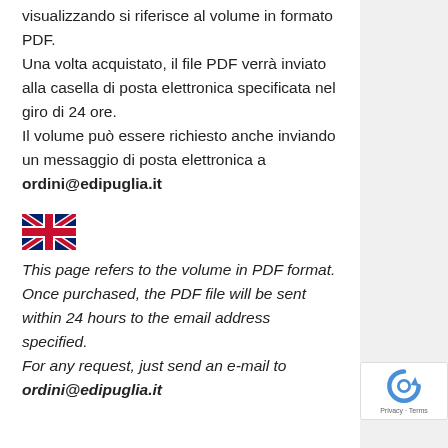visualizzando si riferisce al volume in formato PDF. Una volta acquistato, il file PDF verrà inviato alla casella di posta elettronica specificata nel giro di 24 ore. Il volume può essere richiesto anche inviando un messaggio di posta elettronica a ordini@edipuglia.it
[Figure (illustration): UK flag icon]
This page refers to the volume in PDF format. Once purchased, the PDF file will be sent within 24 hours to the email address specified. For any request, just send an e-mail to ordini@edipuglia.it
[Figure (logo): reCAPTCHA badge with Privacy and Terms text]